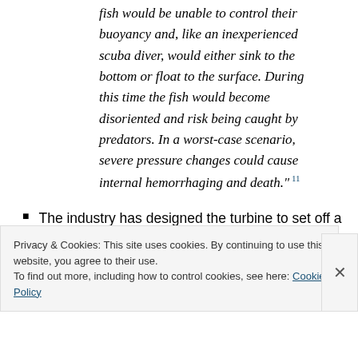fish would be unable to control their buoyancy and, like an inexperienced scuba diver, would either sink to the bottom or float to the surface. During this time the fish would become disoriented and risk being caught by predators. In a worst-case scenario, severe pressure changes could cause internal hemorrhaging and death." 11
The industry has designed the turbine to set off a warning noise, which they say will keep the animals out of the turbine. However, this noise could have another
Privacy & Cookies: This site uses cookies. By continuing to use this website, you agree to their use.
To find out more, including how to control cookies, see here: Cookie Policy
Close and accept